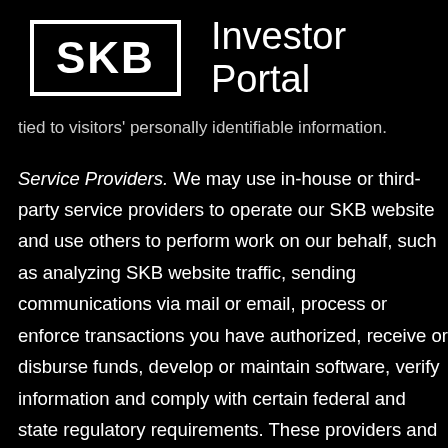SKB Investor Portal
tied to visitors' personally identifiable information.
Service Providers. We may use in-house or third-party service providers to operate our SKB website and use others to perform work on our behalf, such as analyzing SKB website traffic, sending communications via mail or email, process or enforce transactions you have authorized, receive or disburse funds, develop or maintain software, verify information and comply with certain federal and state regulatory requirements. These providers and others may have access to personally identifiable information you have submitted to us through our Website, but only to perform the services they have been authorized to